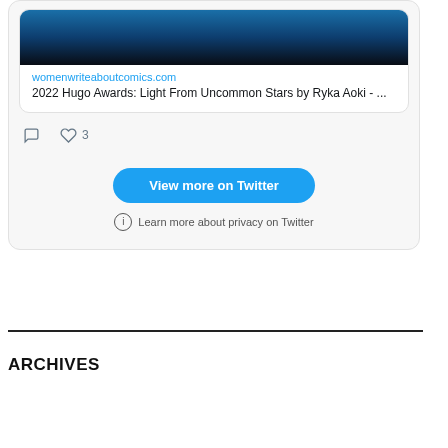[Figure (screenshot): Twitter/X embedded widget showing a tweet with a link card preview. The card shows a blue-toned image at top, the URL womenwriteaboutcomics.com, and article title '2022 Hugo Awards: Light From Uncommon Stars by Ryka Aoki - ...'. Below the card are comment and like (3) icons. A 'View more on Twitter' blue button and 'Learn more about privacy on Twitter' link appear at the bottom of the widget.]
ARCHIVES